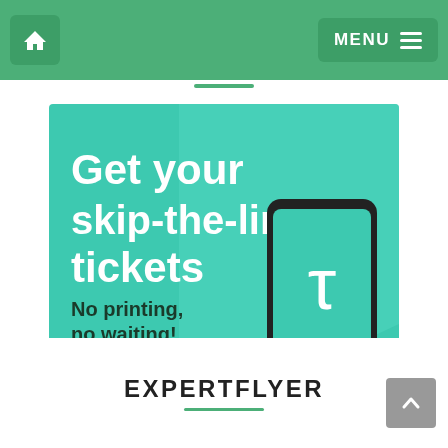Home | MENU
[Figure (illustration): Advertisement banner: teal/turquoise background with white text 'Get your skip-the-line tickets', subtext 'No printing, no waiting!', a red 'Book now' button, a hand holding a smartphone with a white tau/T logo, and silhouettes of world landmarks at the bottom.]
EXPERTFLYER